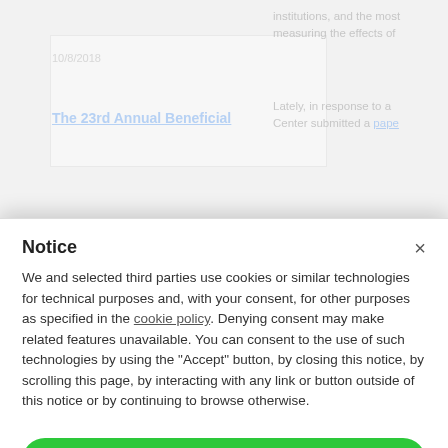10/8/2018
The 23rd Annual Beneficial
institutions, and the most... measuring the effects of...
Lately, in response to a... Center submitted a page...
Notice
We and selected third parties use cookies or similar technologies for technical purposes and, with your consent, for other purposes as specified in the cookie policy. Denying consent may make related features unavailable. You can consent to the use of such technologies by using the "Accept" button, by closing this notice, by scrolling this page, by interacting with any link or button outside of this notice or by continuing to browse otherwise.
Accept
Learn more and customize